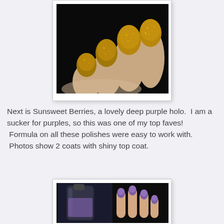[Figure (photo): Close-up photo of a hand with golden/bronze glitter nail polish on fingernails, against a black background]
Next is Sunsweet Berries, a lovely deep purple holo.  I am a sucker for purples, so this was one of my top faves!  Formula on all these polishes were easy to work with.  Photos show 2 coats with shiny top coat.
[Figure (photo): Photo showing a purple nail polish bottle next to a hand with purple holographic nail polish applied, against a dark background]